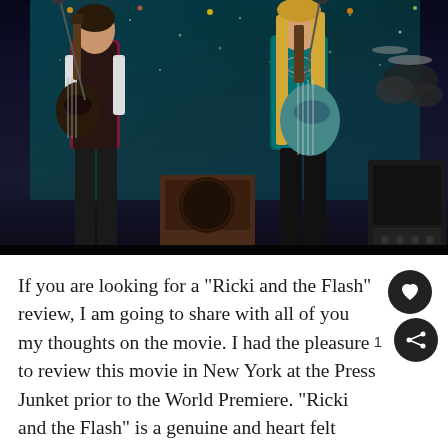[Figure (photo): Two guitarists performing on stage. Left musician wears a dark vest over a light shirt and plays an electric guitar. Right musician has long blonde hair, wears a teal/turquoise sequined jacket and black pants, and plays a teal electric guitar. Stage background has teal sparkly curtain/lights. A drum kit and amplifiers are visible in the background.]
If you are looking for a “Ricki and the Flash” review, I am going to share with all of you my thoughts on the movie. I had the pleasure to review this movie in New York at the Press Junket prior to the World Premiere. “Ricki and the Flash” is a genuine and heart felt movie about love, family, and tough decisions. Prior to